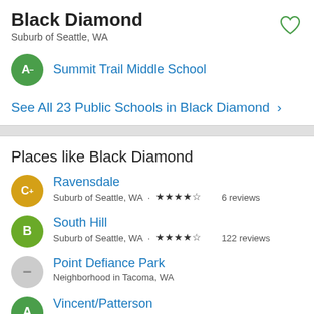Black Diamond
Suburb of Seattle, WA
A− Summit Trail Middle School
See All 23 Public Schools in Black Diamond >
Places like Black Diamond
C+ Ravensdale — Suburb of Seattle, WA · ★★★★☆ 6 reviews
B South Hill — Suburb of Seattle, WA · ★★★★☆ 122 reviews
− Point Defiance Park — Neighborhood in Tacoma, WA
A Vincent/Patterson — Neighborhood in Redmond, WA · ★★★★½ 4 reviews
+ More